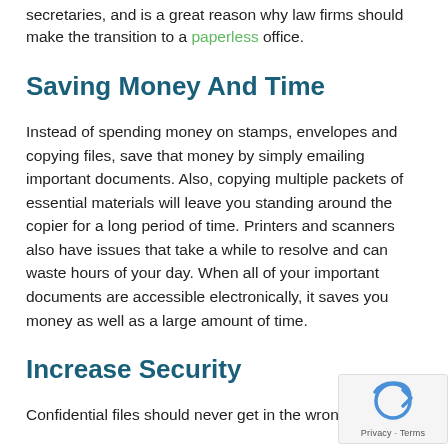secretaries, and is a great reason why law firms should make the transition to a paperless office.
Saving Money And Time
Instead of spending money on stamps, envelopes and copying files, save that money by simply emailing important documents. Also, copying multiple packets of essential materials will leave you standing around the copier for a long period of time. Printers and scanners also have issues that take a while to resolve and can waste hours of your day. When all of your important documents are accessible electronically, it saves you money as well as a large amount of time.
Increase Security
Confidential files should never get in the wrong hands,